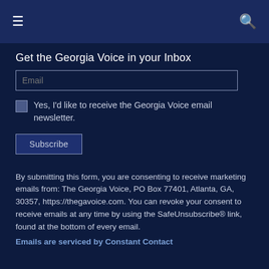☰   🔍
Get the Georgia Voice in your Inbox
Email
Yes, I'd like to receive the Georgia Voice email newsletter.
Subscribe
By submitting this form, you are consenting to receive marketing emails from: The Georgia Voice, PO Box 77401, Atlanta, GA, 30357, https://thegavoice.com. You can revoke your consent to receive emails at any time by using the SafeUnsubscribe® link, found at the bottom of every email.
Emails are serviced by Constant Contact